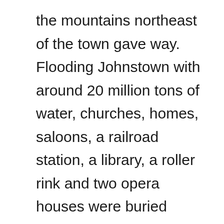the mountains northeast of the town gave way. Flooding Johnstown with around 20 million tons of water, churches, homes, saloons, a railroad station, a library, a roller rink and two opera houses were buried under mud and debris. At least 2,209 people died in the disaster. At the same time, the old stone Pennsylvania Railroad bridge also caught on fire. Because of the Johnstown